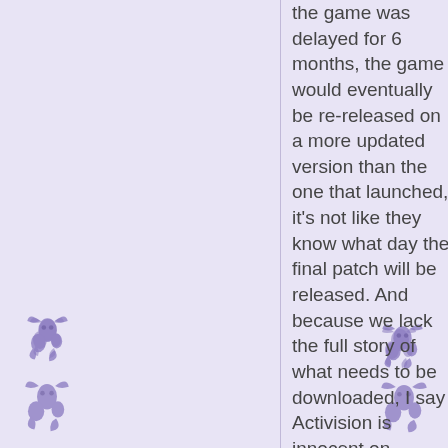the game was delayed for 6 months, the game would eventually be re-released on a more updated version than the one that launched, it's not like they know what day the final patch will be released. And because we lack the full story of what needs to be downloaded, I say Activision is innocent on